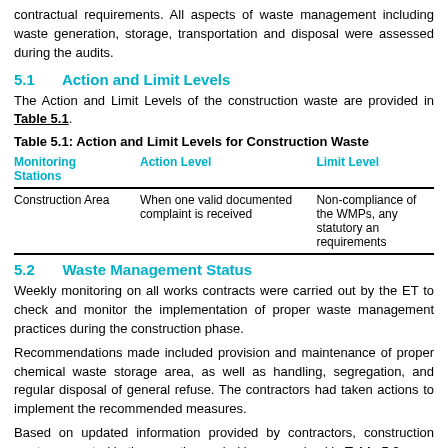contractual requirements. All aspects of waste management including waste generation, storage, transportation and disposal were assessed during the audits.
5.1    Action and Limit Levels
The Action and Limit Levels of the construction waste are provided in Table 5.1.
Table 5.1: Action and Limit Levels for Construction Waste
| Monitoring Stations | Action Level | Limit Level |
| --- | --- | --- |
| Construction Area | When one valid documented complaint is received | Non-compliance of the WMPs, any statutory and requirements |
5.2    Waste Management Status
Weekly monitoring on all works contracts were carried out by the ET to check and monitor the implementation of proper waste management practices during the construction phase.
Recommendations made included provision and maintenance of proper chemical waste storage area, as well as handling, segregation, and regular disposal of general refuse. The contractors had taken actions to implement the recommended measures.
Based on updated information provided by contractors, construction waste generated in the reporting period is summarized in Table 5.2.
There were no complaints, non-compliance of the WMP, contract-specific